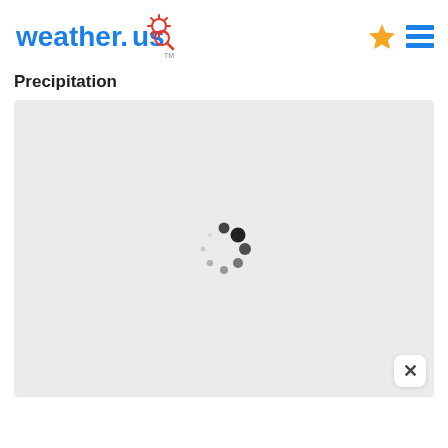weather.us
Precipitation
[Figure (other): Gray map/content area showing a loading spinner (circular dots) in the center, with a close (×) button at the bottom right corner.]